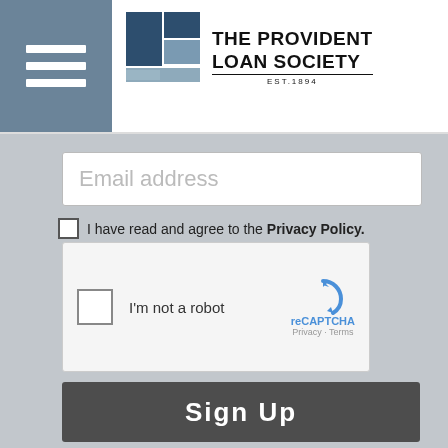[Figure (logo): The Provident Loan Society logo with hamburger menu icon in header]
Email address
I have read and agree to the Privacy Policy.
[Figure (screenshot): reCAPTCHA widget with checkbox and 'I'm not a robot' label]
Sign Up
[Figure (logo): The Provident Loan Society logo in footer area]